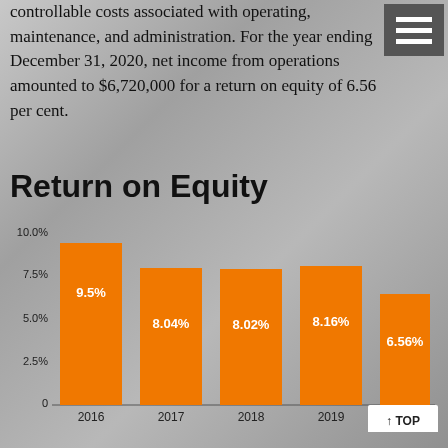controllable costs associated with operating, maintenance, and administration. For the year ending December 31, 2020, net income from operations amounted to $6,720,000 for a return on equity of 6.56 per cent.
Return on Equity
[Figure (bar-chart): Return on Equity]